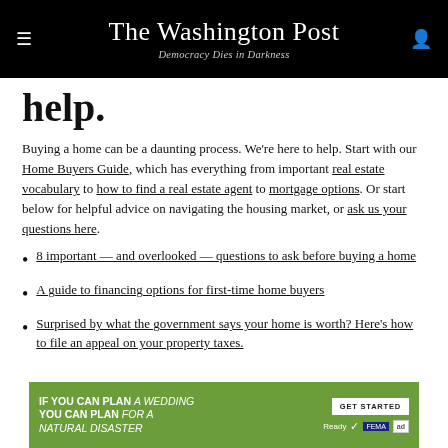The Washington Post
Democracy Dies in Darkness
help.
Buying a home can be a daunting process. We're here to help. Start with our Home Buyers Guide, which has everything from important real estate vocabulary to how to find a real estate agent to mortgage options. Or start below for helpful advice on navigating the housing market, or ask us your questions here.
8 important — and overlooked — questions to ask before buying a home
A guide to financing options for first-time home buyers
Surprised by what the government says your home is worth? Here's how to file an appeal on your property taxes.
[Figure (other): Green advertisement banner: IF YOU CAN PLAN A WEDDING YOU CAN PLAN FOR A NATURAL DISASTER — GET STARTED — Ready FEMA ad]